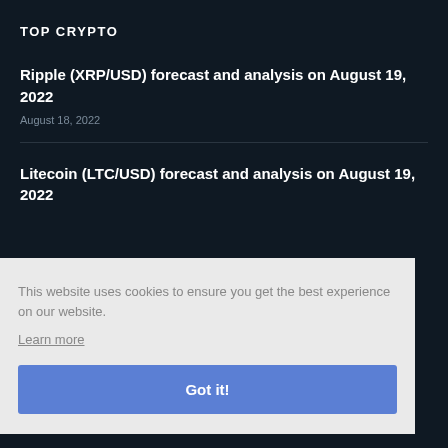TOP CRYPTO
Ripple (XRP/USD) forecast and analysis on August 19, 2022
August 18, 2022
Litecoin (LTC/USD) forecast and analysis on August 19, 2022
This website uses cookies to ensure you get the best experience on our website. Learn more
Got it!